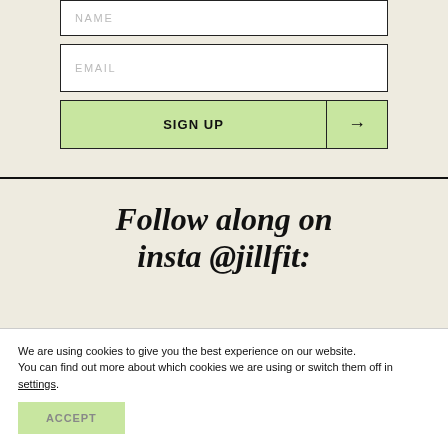NAME
EMAIL
SIGN UP →
Follow along on insta @jillfit:
We are using cookies to give you the best experience on our website.
You can find out more about which cookies we are using or switch them off in settings.
ACCEPT